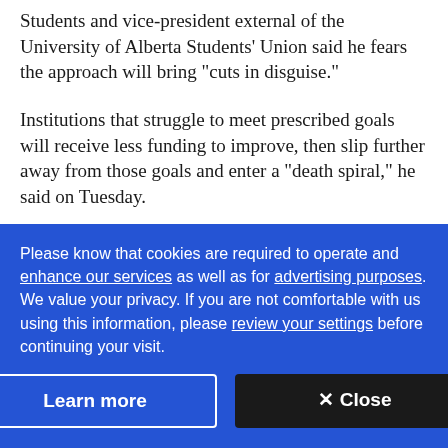Students and vice-president external of the University of Alberta Students' Union said he fears the approach will bring "cuts in disguise."
Institutions that struggle to meet prescribed goals will receive less funding to improve, then slip further away from those goals and enter a "death spiral," he said on Tuesday.
As a demographic bulge moves toward post-secondary
Please know that cookies are required to operate and enhance our services as well as for advertising purposes. We value your privacy. If you are not comfortable with us using this information, please review your settings before continuing your visit.